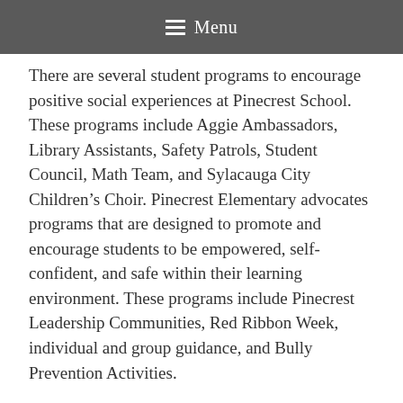Menu
There are several student programs to encourage positive social experiences at Pinecrest School. These programs include Aggie Ambassadors, Library Assistants, Safety Patrols, Student Council, Math Team, and Sylacauga City Children's Choir. Pinecrest Elementary advocates programs that are designed to promote and encourage students to be empowered, self-confident, and safe within their learning environment. These programs include Pinecrest Leadership Communities, Red Ribbon Week, individual and group guidance, and Bully Prevention Activities.